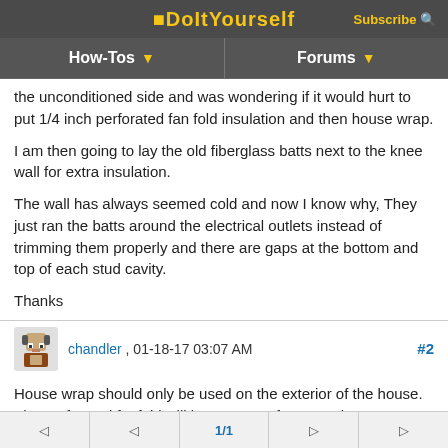DoItYourself | How-Tos ▼ | Forums ▼
the unconditioned side and was wondering if it would hurt to put 1/4 inch perforated fan fold insulation and then house wrap.
I am then going to lay the old fiberglass batts next to the knee wall for extra insulation.
The wall has always seemed cold and now I know why, They just ran the batts around the electrical outlets instead of trimming them properly and there are gaps at the bottom and top of each stud cavity.
Thanks
chandler , 01-18-17 03:07 AM   #2
House wrap should only be used on the exterior of the house. The perforated fanfold will be a waste of money since you are using Roxul cut properly and tight. Can you post pictures of the knee wall on both
◁  ◁  1/1  ▷  ▷